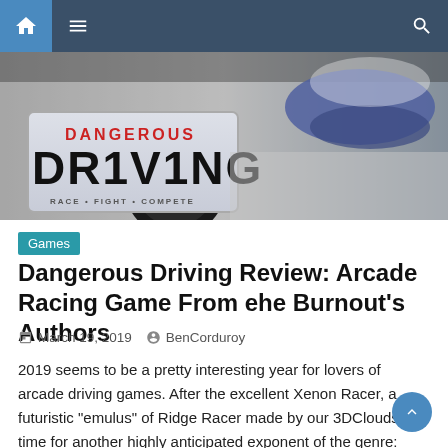Navigation bar with home, menu, and search icons
[Figure (photo): Close-up photo of a car license plate reading 'DR1V1NG' with text 'DANGEROUS' above and 'RACE FIGHT COMPETE' below, with a racing car and motion blur in the background]
Games
Dangerous Driving Review: Arcade Racing Game From the Burnout's Authors
March 19, 2019   BenCorduroy
2019 seems to be a pretty interesting year for lovers of arcade driving games. After the excellent Xenon Racer, a futuristic “emulus” of Ridge Racer made by our 3DClouds, it’s time for another highly anticipated exponent of the genre: Dangerous Driving. The title of Three Fields Entertainment is nothing more than a true spiritual heir [...]